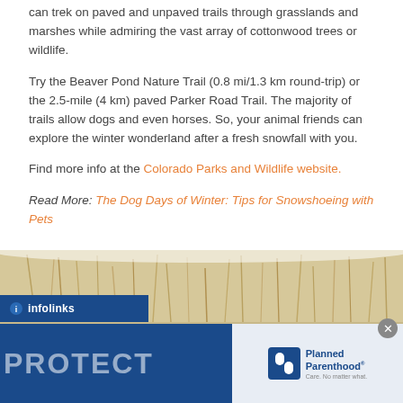can trek on paved and unpaved trails through grasslands and marshes while admiring the vast array of cottonwood trees or wildlife.
Try the Beaver Pond Nature Trail (0.8 mi/1.3 km round-trip) or the 2.5-mile (4 km) paved Parker Road Trail. The majority of trails allow dogs and even horses. So, your animal friends can explore the winter wonderland after a fresh snowfall with you.
Find more info at the Colorado Parks and Wildlife website.
Read More: The Dog Days of Winter: Tips for Snowshoeing with Pets
[Figure (photo): Winter scene showing dried grasses and reeds in snow, with an advertisement overlay at the bottom featuring 'PROTECT' text and Planned Parenthood logo on a dark blue background, with an infolinks label.]